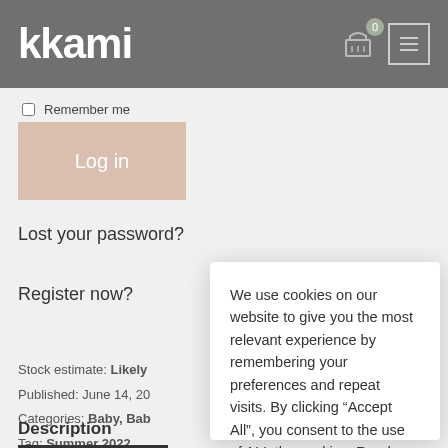kkami
Remember me
Log in
Lost your password?
Register now?
Stock estimate: Likely
Published: June 14, 20
Categories: Baby, Bab
Tag: Summer 2022
Brands: Ciel De Mama
Description
We use cookies on our website to give you the most relevant experience by remembering your preferences and repeat visits. By clicking “Accept All”, you consent to the use of ALL the cookies. Read More
Do not sell my personal information.
Cookie Settings
Accept All